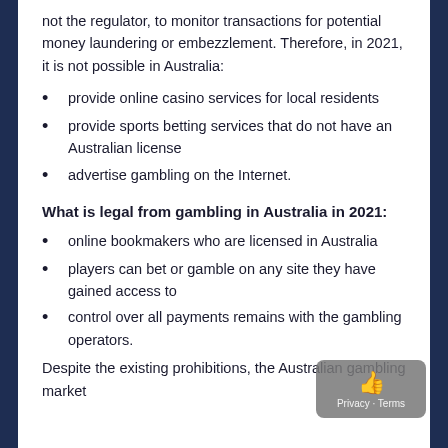not the regulator, to monitor transactions for potential money laundering or embezzlement. Therefore, in 2021, it is not possible in Australia:
provide online casino services for local residents
provide sports betting services that do not have an Australian license
advertise gambling on the Internet.
What is legal from gambling in Australia in 2021:
online bookmakers who are licensed in Australia
players can bet or gamble on any site they have gained access to
control over all payments remains with the gambling operators.
Despite the existing prohibitions, the Australian gambling market